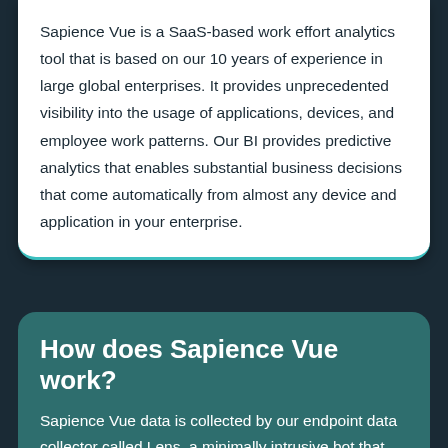Sapience Vue is a SaaS-based work effort analytics tool that is based on our 10 years of experience in large global enterprises. It provides unprecedented visibility into the usage of applications, devices, and employee work patterns. Our BI provides predictive analytics that enables substantial business decisions that come automatically from almost any device and application in your enterprise.
How does Sapience Vue work?
Sapience Vue data is collected by our endpoint data collector called Lens, a minimally intrusive bot that